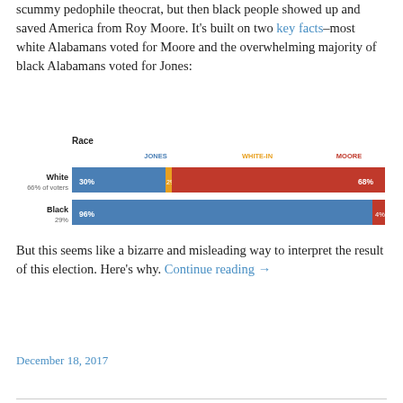scummy pedophile theocrat, but then black people showed up and saved America from Roy Moore. It's built on two key facts–most white Alabamans voted for Moore and the overwhelming majority of black Alabamans voted for Jones:
[Figure (stacked-bar-chart): Race]
But this seems like a bizarre and misleading way to interpret the result of this election. Here's why. Continue reading →
December 18, 2017